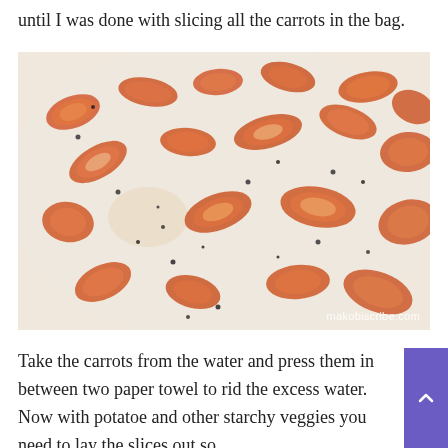until I was done with slicing all the carrots in the bag.
[Figure (photo): Close-up photo of sliced carrot pieces laid out on a white surface, sprinkled with black pepper. Watermark reads makobiscribe.com.]
Take the carrots from the water and press them in between two paper towel to rid the excess water. Now with potatoe and other starchy veggies you need to lay the slices out so